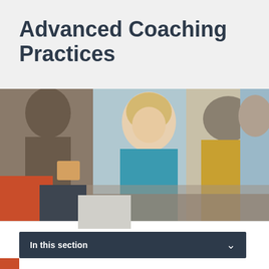Advanced Coaching Practices
[Figure (photo): Group coaching session with smiling woman in blue top facing another person in a yellow sweater, in an office setting]
In this section